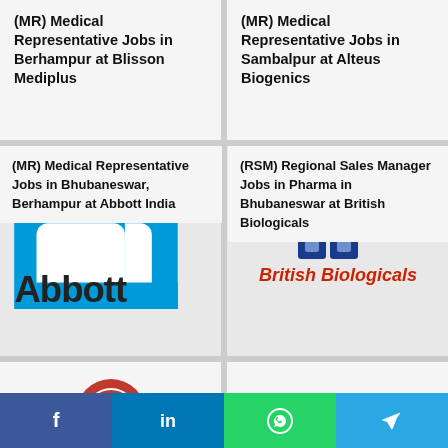(MR) Medical Representative Jobs in Berhampur at Blisson Mediplus
(MR) Medical Representative Jobs in Sambalpur at Alteus Biogenics
[Figure (logo): Abbott India logo - blue rounded square 'a' shape with 'Abbott' text below]
[Figure (logo): British Biologicals logo - red and blue grid icon with italic red text 'British Biologicals']
(MR) Medical Representative Jobs in Bhubaneswar, Berhampur at Abbott India
(RSM) Regional Sales Manager Jobs in Pharma in Bhubaneswar at British Biologicals
[Figure (logo): Glenmark logo with red G circle icon, red 'glenmark' text and tagline 'A new way for a new world']
[Figure (logo): Anthus Pharmaceuticals Pvt. Ltd. logo with grey snowflake/asterisk icon and dark blue 'anthus' text]